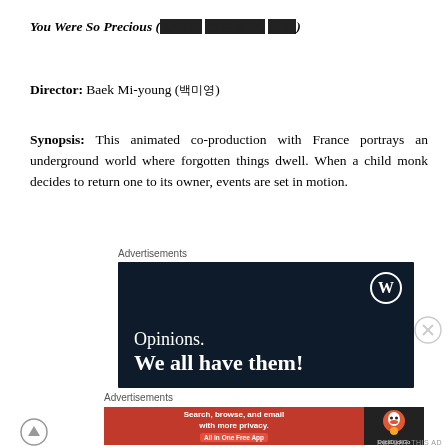You Were So Precious (당신이 소중했어, 당신)
Director: Baek Mi-young (백미영)
Synopsis: This animated co-production with France portrays an underground world where forgotten things dwell. When a child monk decides to return one to its owner, events are set in motion.
Advertisements
[Figure (screenshot): WordPress advertisement banner with dark navy background showing WordPress logo, text 'Opinions. We all have them!']
Advertisements
[Figure (screenshot): DuckDuckGo advertisement banner with red background, text 'Search, browse, and email with more privacy. All in One Free App' and DuckDuckGo logo on dark right side]